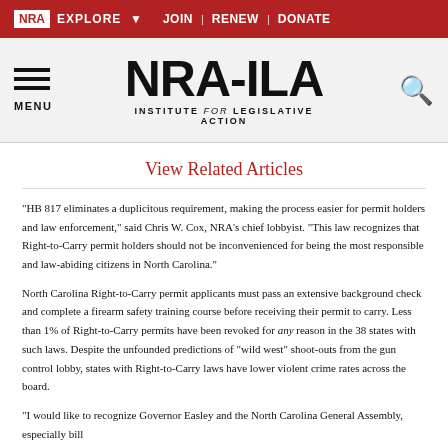NRA EXPLORE  JOIN | RENEW | DONATE
[Figure (logo): NRA-ILA Institute for Legislative Action logo with menu and search icons]
View Related Articles
"HB 817 eliminates a duplicitous requirement, making the process easier for permit holders and law enforcement," said Chris W. Cox, NRA's chief lobbyist. "This law recognizes that Right-to-Carry permit holders should not be inconvenienced for being the most responsible and law-abiding citizens in North Carolina."
North Carolina Right-to-Carry permit applicants must pass an extensive background check and complete a firearm safety training course before receiving their permit to carry. Less than 1% of Right-to-Carry permits have been revoked for any reason in the 38 states with such laws. Despite the unfounded predictions of "wild west" shoot-outs from the gun control lobby, states with Right-to-Carry laws have lower violent crime rates across the board.
"I would like to recognize Governor Easley and the North Carolina General Assembly, especially bill